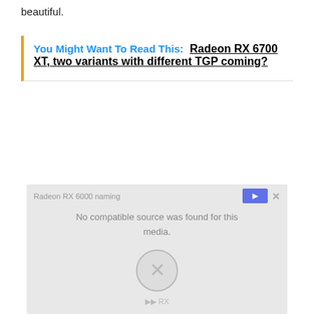beautiful.
You Might Want To Read This: Radeon RX 6700 XT, two variants with different TGP coming?
[Figure (screenshot): Video player error screen showing 'No compatible source was found for this media.' with a broken media icon and close button.]